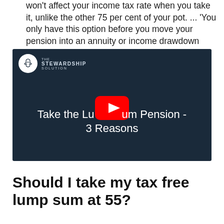won't affect your income tax rate when you take it, unlike the other 75 per cent of your pot. ... 'You only have this option before you move your pension into an annuity or income drawdown product.
[Figure (screenshot): YouTube video thumbnail for 'The Stewardship Solution' channel showing video titled 'Take the Lump Sum Pension - 3 Reasons' with a YouTube play button overlay on a dark navy background.]
Should I take my tax free lump sum at 55?